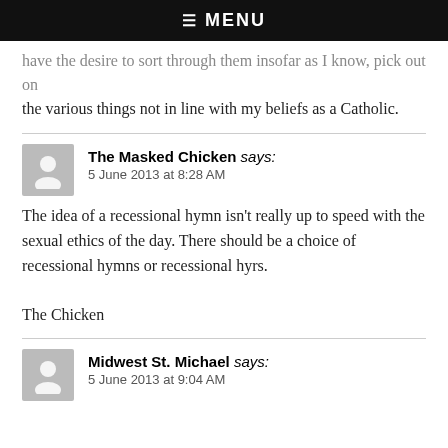☰ MENU
have the desire to sort through them insofar as I know, pick out the various things not in line with my beliefs as a Catholic.
The Masked Chicken says:
5 June 2013 at 8:28 AM
The idea of a recessional hymn isn't really up to speed with the sexual ethics of the day. There should be a choice of recessional hymns or recessional hyrs.

The Chicken
Midwest St. Michael says:
5 June 2013 at 9:04 AM